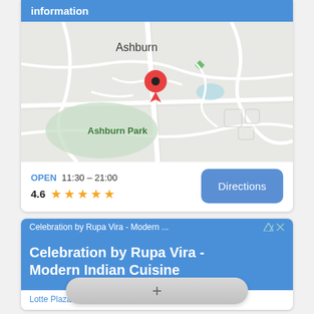information
[Figure (map): Google Maps view showing Ashburn area with a red location pin near Ashburn Park]
OPEN  11:30 – 21:00
4.6 ★★★★½
Directions
[Figure (screenshot): Ad card: Celebration by Rupa Vira - Modern Indian Cuisine, Lotte Plaza]
+